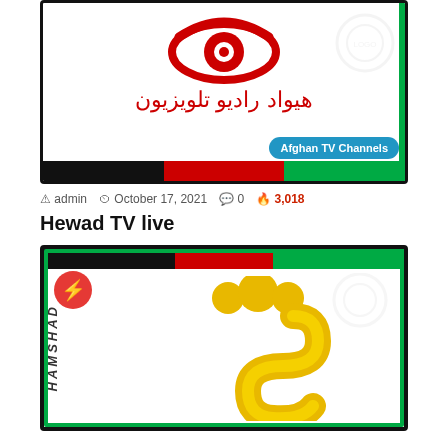[Figure (logo): Hewad Radio Television logo with red eye symbol and Arabic/Dari text, Afghan flag bar at bottom, Afghan TV Channels badge]
admin   October 17, 2021   0   3,018
Hewad TV live
[Figure (logo): Hamshad TV logo with lightning bolt badge, vertical HAMSHAD text, yellow stylized S-shaped logo, Afghan flag bar at top, green border]